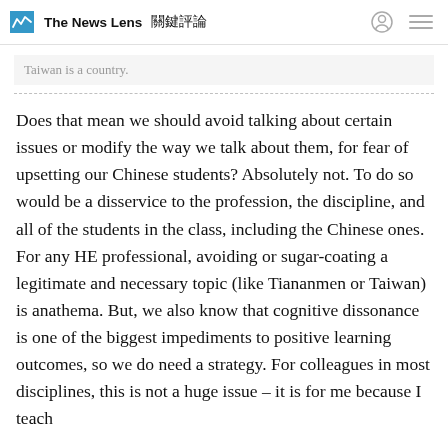The News Lens 關鍵評論
Taiwan is a country.
Does that mean we should avoid talking about certain issues or modify the way we talk about them, for fear of upsetting our Chinese students? Absolutely not. To do so would be a disservice to the profession, the discipline, and all of the students in the class, including the Chinese ones. For any HE professional, avoiding or sugar-coating a legitimate and necessary topic (like Tiananmen or Taiwan) is anathema. But, we also know that cognitive dissonance is one of the biggest impediments to positive learning outcomes, so we do need a strategy. For colleagues in most disciplines, this is not a huge issue – it is for me because I teach